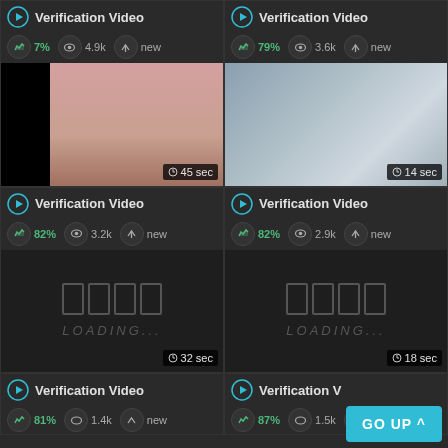[Figure (screenshot): Video thumbnail grid showing 6 video cards labeled Verification Video with stats (likes, views, upload status) and duration badges. Bottom-right has a GO UP button.]